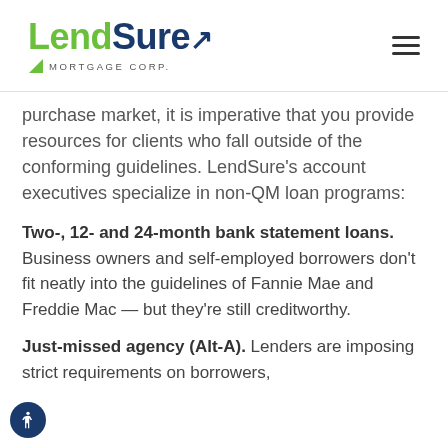LendSure MORTGAGE CORP.
purchase market, it is imperative that you provide resources for clients who fall outside of the conforming guidelines. LendSure's account executives specialize in non-QM loan programs:
Two-, 12- and 24-month bank statement loans. Business owners and self-employed borrowers don't fit neatly into the guidelines of Fannie Mae and Freddie Mac — but they're still creditworthy.
Just-missed agency (Alt-A). Lenders are imposing strict requirements on borrowers,